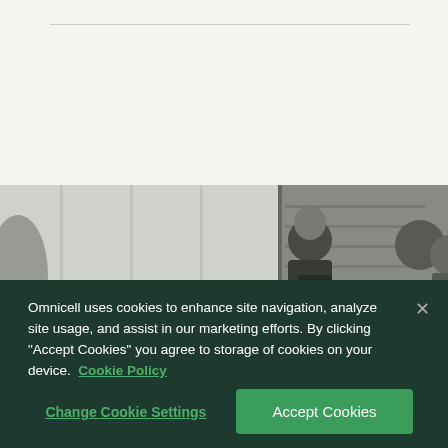[Figure (photo): Black and white photo of a business meeting/presentation scene. A man in a suit is standing and presenting with a folder/binder, with several people seated as audience and a woman standing in the background.]
Omnicell uses cookies to enhance site navigation, analyze site usage, and assist in our marketing efforts. By clicking "Accept Cookies" you agree to storage of cookies on your device. Cookie Policy
Change Cookie Settings
Accept Cookies